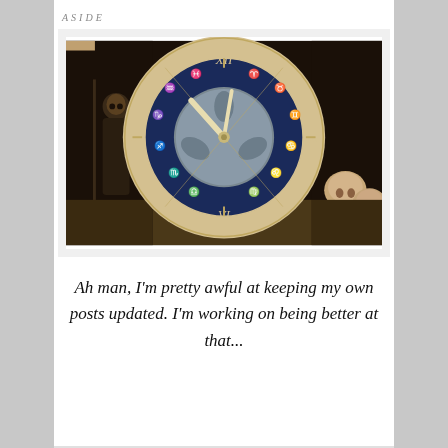ASIDE
[Figure (photo): A dramatic zodiac clock with Roman numerals and zodiac symbols on a dark blue face, featuring ornate clock hands. The background shows a dark scene with a hooded figure (like the Grim Reaper) on the left and skulls on the right, creating a gothic, memento mori atmosphere.]
Ah man, I'm pretty awful at keeping my own posts updated. I'm working on being better at that...